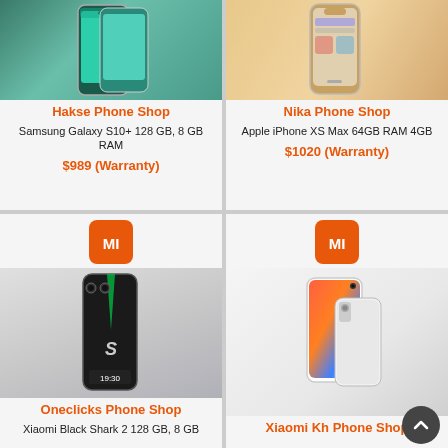[Figure (photo): Samsung Galaxy S10+ smartphone in teal/green color]
Hakse Phone Shop
Samsung Galaxy S10+ 128 GB, 8 GB RAM
$989 (Warranty)
[Figure (photo): Apple iPhone XS Max in gold color]
Nika Phone Shop
Apple iPhone XS Max 64GB RAM 4GB
$1020 (Warranty)
[Figure (logo): Xiaomi MI logo orange square]
[Figure (photo): Xiaomi Black Shark 2 gaming smartphone in black/silver]
Oneclicks Phone Shop
Xiaomi Black Shark 2 128 GB, 8 GB
[Figure (logo): Xiaomi MI logo orange square]
[Figure (photo): Xiaomi Mi Mix 2S smartphone in white]
Xiaomi Kh Phone Shop